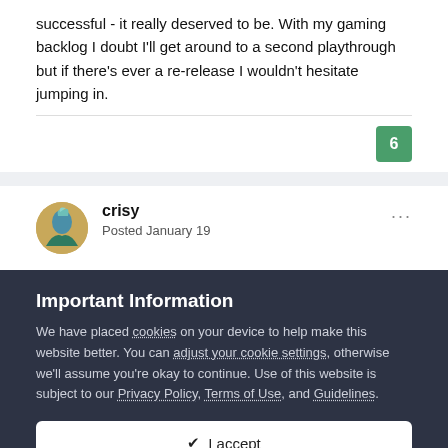successful - it really deserved to be. With my gaming backlog I doubt I'll get around to a second playthrough but if there's ever a re-release I wouldn't hesitate jumping in.
6
crisy
Posted January 19
Important Information
We have placed cookies on your device to help make this website better. You can adjust your cookie settings, otherwise we'll assume you're okay to continue. Use of this website is subject to our Privacy Policy, Terms of Use, and Guidelines.
✓ I accept